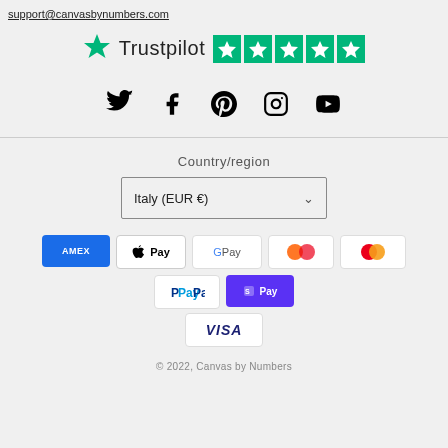support@canvasbynumbers.com
[Figure (logo): Trustpilot logo with green star and 4 green star rating boxes]
[Figure (infographic): Social media icons: Twitter, Facebook, Pinterest, Instagram, YouTube]
Country/region
Italy (EUR €)
[Figure (infographic): Payment method logos: American Express, Apple Pay, Google Pay, two circle logos, Mastercard, PayPal, Shop Pay, Visa]
© 2022, Canvas by Numbers